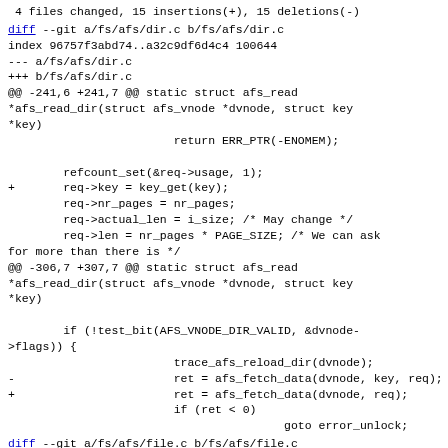4 files changed, 15 insertions(+), 15 deletions(-)
diff --git a/fs/afs/dir.c b/fs/afs/dir.c
index 96757f3abd74..a32c9df6d4c4 100644
--- a/fs/afs/dir.c
+++ b/fs/afs/dir.c
@@ -241,6 +241,7 @@ static struct afs_read
*afs_read_dir(struct afs_vnode *dvnode, struct key
*key)
                        return ERR_PTR(-ENOMEM);

        refcount_set(&req->usage, 1);
+       req->key = key_get(key);
        req->nr_pages = nr_pages;
        req->actual_len = i_size; /* May change */
        req->len = nr_pages * PAGE_SIZE; /* We can ask
for more than there is */
@@ -306,7 +307,7 @@ static struct afs_read
*afs_read_dir(struct afs_vnode *dvnode, struct key
*key)

        if (!test_bit(AFS_VNODE_DIR_VALID, &dvnode-
>flags)) {
                        trace_afs_reload_dir(dvnode);
-                       ret = afs_fetch_data(dvnode, key, req);
+                       ret = afs_fetch_data(dvnode, req);
                        if (ret < 0)
                                        goto error_unlock;
diff --git a/fs/afs/file.c b/fs/afs/file.c
index 75958dc366e1..2e2252def076 100644